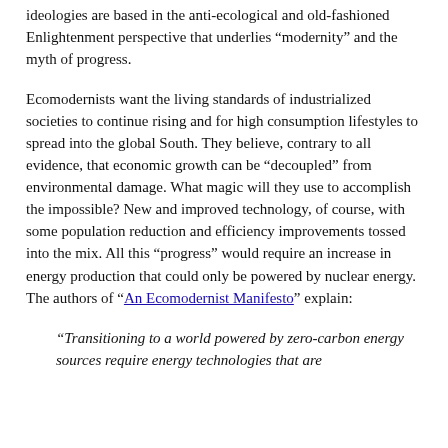ideologies are based in the anti-ecological and old-fashioned Enlightenment perspective that underlies “modernity” and the myth of progress.
Ecomodernists want the living standards of industrialized societies to continue rising and for high consumption lifestyles to spread into the global South. They believe, contrary to all evidence, that economic growth can be “decoupled” from environmental damage. What magic will they use to accomplish the impossible? New and improved technology, of course, with some population reduction and efficiency improvements tossed into the mix. All this “progress” would require an increase in energy production that could only be powered by nuclear energy. The authors of “An Ecomodernist Manifesto” explain:
“Transitioning to a world powered by zero-carbon energy sources require energy technologies that are